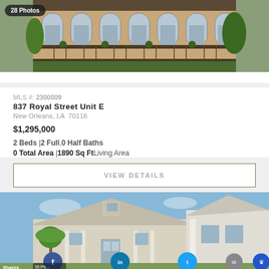[Figure (photo): Exterior photo of a historic New Orleans building with arched windows and balcony with plants, labeled '28 Photos']
MLS #: 2300009
837 Royal Street Unit E
New Orleans, LA  70116
$1,295,000
2 Beds |2 Full,0 Half Baths
0 Total Area |1890 Sq Ft Living Area
VIEW DETAILS
[Figure (photo): Exterior photo of a white craftsman-style house with palm trees in front, social media sharing icons overlaid at bottom (Facebook, LinkedIn, Twitter, email, crown) with Shares label]